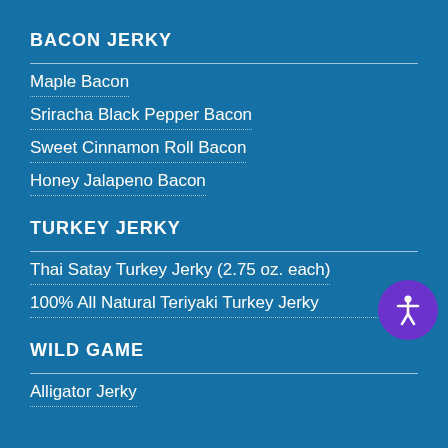BACON JERKY
Maple Bacon
Sriracha Black Pepper Bacon
Sweet Cinnamon Roll Bacon
Honey Jalapeno Bacon
TURKEY JERKY
Thai Satay Turkey Jerky (2.75 oz. each)
100% All Natural Teriyaki Turkey Jerky
WILD GAME
Alligator Jerky